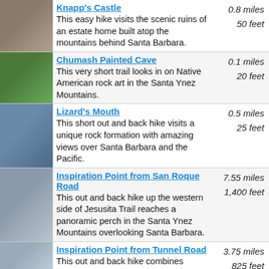Knapp's Castle — 0.8 miles, 50 feet. This easy hike visits the scenic ruins of an estate home built atop the mountains behind Santa Barbara.
Chumash Painted Cave — 0.1 miles, 20 feet. This very short trail looks in on Native American rock art in the Santa Ynez Mountains.
Lizard's Mouth — 0.5 miles, 25 feet. This short out and back hike visits a unique rock formation with amazing views over Santa Barbara and the Pacific.
Inspiration Point from San Roque Road — 7.55 miles, 1,400 feet. This out and back hike up the western side of Jesusita Trail reaches a panoramic perch in the Santa Ynez Mountains overlooking Santa Barbara.
Inspiration Point from Tunnel Road — 3.75 miles, 825 feet. This out and back hike combines